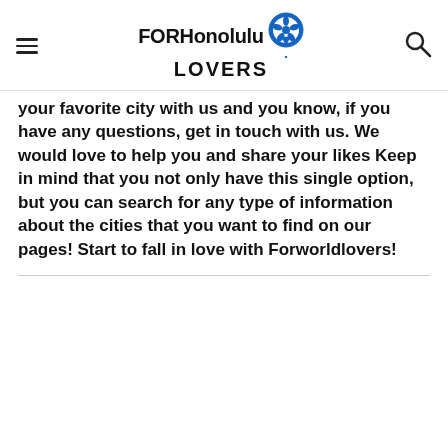FORHonolulu LOVERS
your favorite city with us and you know, if you have any questions, get in touch with us. We would love to help you and share your likes Keep in mind that you not only have this single option, but you can search for any type of information about the cities that you want to find on our pages! Start to fall in love with Forworldlovers!